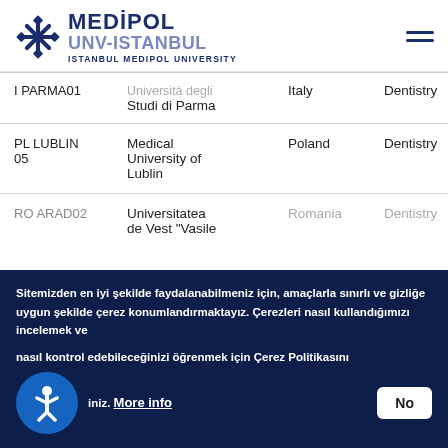[Figure (logo): Istanbul Medipol University logo with snowflake-like icon and text MEDIPOL UNV-ISTANBUL ISTANBUL MEDIPOL UNIVERSITY]
| Code | University | Country | Subject |
| --- | --- | --- | --- |
| I PARMA01 | Università degli Studi di Parma | Italy | Dentistry |
| PL LUBLIN 05 | Medical University of Lublin | Poland | Dentistry |
| RO ARAD02 | Universitatea de Vest "Vasile... | Romania | Dentistry |
Sitemizden en iyi şekilde faydalanabilmeniz için, amaçlarla sınırlı ve gizliğe uygun şekilde çerez konumlandırmaktayız. Çerezleri nasıl kullandığımızı incelemek ve nasıl kontrol edebileceğinizi öğrenmek için Çerez Politikasını inceleyiniz. More info